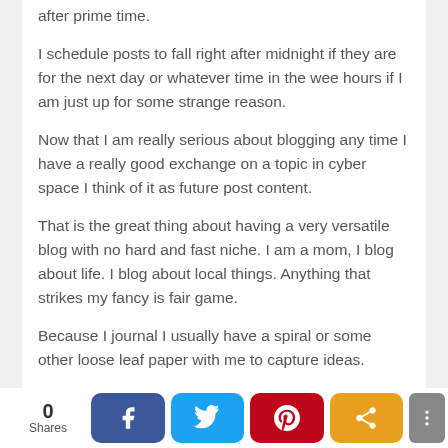after prime time.
I schedule posts to fall right after midnight if they are for the next day or whatever time in the wee hours if I am just up for some strange reason.
Now that I am really serious about blogging any time I have a really good exchange on a topic in cyber space I think of it as future post content.
That is the great thing about having a very versatile blog with no hard and fast niche. I am a mom, I blog about life. I blog about local things. Anything that strikes my fancy is fair game.
Because I journal I usually have a spiral or some other loose leaf paper with me to capture ideas.
Capping myself at around 500 words also helps with
0 Shares